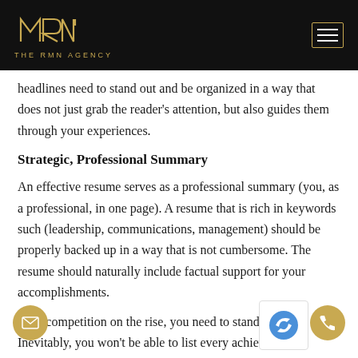THE RMN AGENCY
headlines need to stand out and be organized in a way that does not just grab the reader's attention, but also guides them through your experiences.
Strategic, Professional Summary
An effective resume serves as a professional summary (you, as a professional, in one page). A resume that is rich in keywords such (leadership, communications, management) should be properly backed up in a way that is not cumbersome. The resume should naturally include factual support for your accomplishments.
With competition on the rise, you need to stand out. Inevitably, you won't be able to list every achieve...